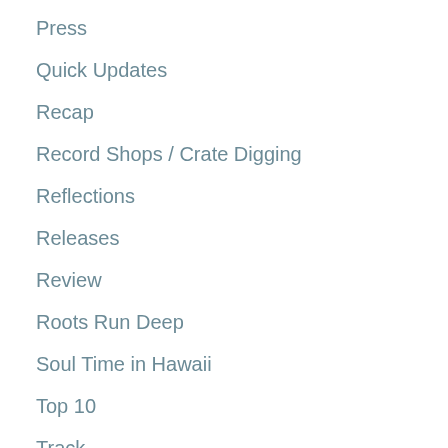Press
Quick Updates
Recap
Record Shops / Crate Digging
Reflections
Releases
Review
Roots Run Deep
Soul Time in Hawaii
Top 10
Track
Updates
Video